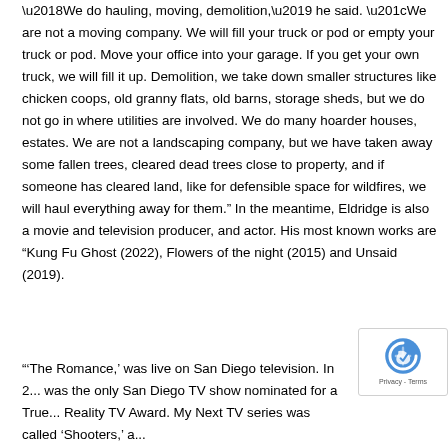'We do hauling, moving, demolition,' he said. 'We are not a moving company. We will fill your truck or pod or empty your truck or pod. Move your office into your garage. If you get your own truck, we will fill it up. Demolition, we take down smaller structures like chicken coops, old granny flats, old barns, storage sheds, but we do not go in where utilities are involved. We do many hoarder houses, estates. We are not a landscaping company, but we have taken away some fallen trees, cleared dead trees close to property, and if someone has cleared land, like for defensible space for wildfires, we will haul everything away for them.' In the meantime, Eldridge is also a movie and television producer, and actor. His most known works are “Kung Fu Ghost (2022), Flowers of the night (2015) and Unsaid (2019).
'‘The Romance,' was live on San Diego television. In 2... was the only San Diego TV show nominated for a True... Reality TV Award. My Next TV series was called ‘Shooters,' a...